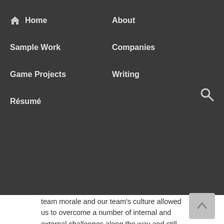Home  About  Sample Work  Companies  Game Projects  Writing  Résumé
team morale and our team's culture allowed us to overcome a number of internal and external challenges along the way and still laugh together in the end.
What I Learned
The Centre for Digital Media emphasizes collaborative team building and I had to learn very quickly how to make a team from scratch without a lot of oversight or direction. Having previously worked at a newspaper with a lot of institutional memory I had to